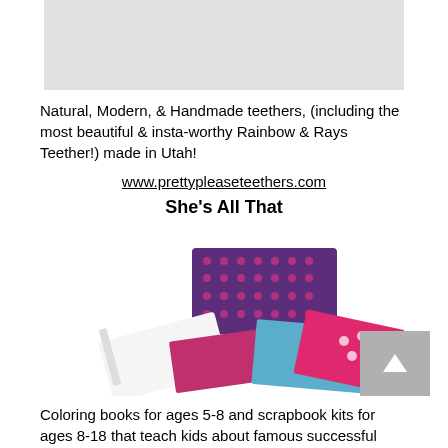[Figure (photo): Gray placeholder image at top of page]
Natural, Modern, & Handmade teethers, (including the most beautiful & insta-worthy Rainbow & Rays Teether!) made in Utah!
www.prettypleaseteethers.com
She's All That
[Figure (photo): She's All That product image showing a purple polka dot scrapbook/coloring book set with sticker sheets spread out]
Coloring books for ages 5-8 and scrapbook kits for ages 8-18 that teach kids about famous successful African American women while sparking creativity.